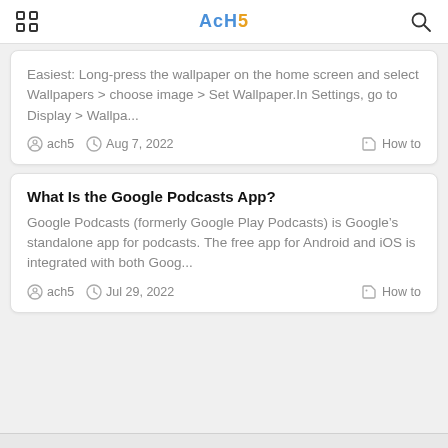AcH5
Easiest: Long-press the wallpaper on the home screen and select Wallpapers > choose image > Set Wallpaper.In Settings, go to Display > Wallpa...
ach5   Aug 7, 2022   How to
What Is the Google Podcasts App?
Google Podcasts (formerly Google Play Podcasts) is Google’s standalone app for podcasts. The free app for Android and iOS is integrated with both Goog...
ach5   Jul 29, 2022   How to